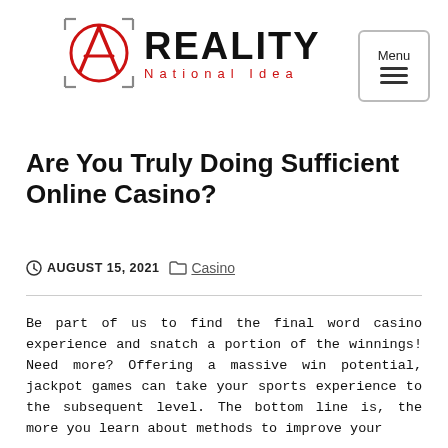[Figure (logo): Reality National Idea logo with red anarchy-style symbol and black REALITY text]
Are You Truly Doing Sufficient Online Casino?
AUGUST 15, 2021   Casino
Be part of us to find the final word casino experience and snatch a portion of the winnings! Need more? Offering a massive win potential, jackpot games can take your sports experience to the subsequent level. The bottom line is, the more you learn about methods to improve your